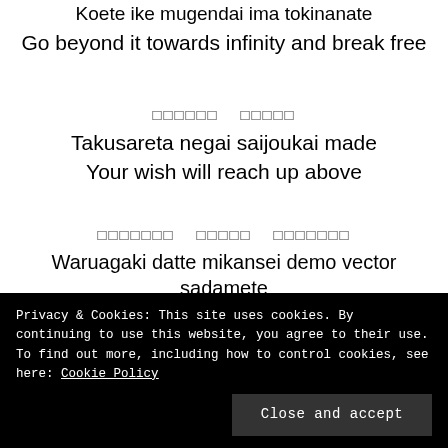Koete ike mugendai ima tokinanate
Go beyond it towards infinity and break free
□□□□□□ □□□□□
Takusareta negai saijoukai made
Your wish will reach up above
□□□□□□□ □□□□□ □□□□□□□
Waruagaki datte mikansei demo vector sadamete
Even if you struggle, even if it's incomplete,
To design a world vividly
Privacy & Cookies: This site uses cookies. By continuing to use this website, you agree to their use.
To find out more, including how to control cookies, see here: Cookie Policy
Close and accept